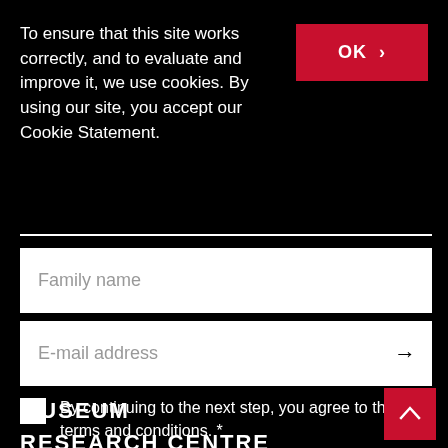To ensure that this site works correctly, and to evaluate and improve it, we use cookies. By using our site, you accept our Cookie Statement.
OK >
Family name
E-mail address →
By continuing to the next step, you agree to the terms and conditions. *
VISIT
MUSEUM
RESEARCH CENTRE